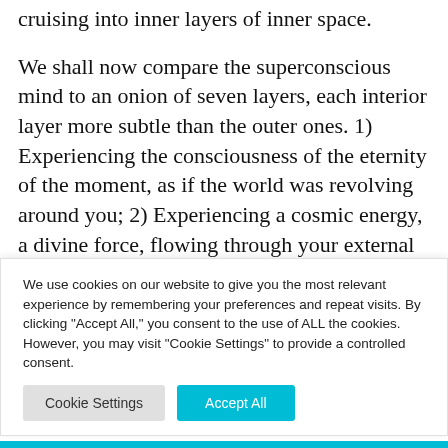cruising into inner layers of inner space.
We shall now compare the superconscious mind to an onion of seven layers, each interior layer more subtle than the outer ones. 1) Experiencing the consciousness of the eternity of the moment, as if the world was revolving around you; 2) Experiencing a cosmic energy, a divine force, flowing through your external mind which is more
We use cookies on our website to give you the most relevant experience by remembering your preferences and repeat visits. By clicking "Accept All," you consent to the use of ALL the cookies. However, you may visit "Cookie Settings" to provide a controlled consent.